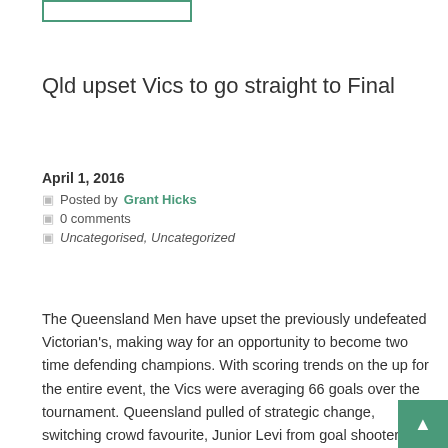Qld upset Vics to go straight to Final
April 1, 2016
Posted by Grant Hicks
0 comments
Uncategorised, Uncategorized
The Queensland Men have upset the previously undefeated Victorian's, making way for an opportunity to become two time defending champions. With scoring trends on the up for the entire event, the Vics were averaging 66 goals over the tournament.  Queensland pulled of strategic change, switching crowd favourite, Junior Levi from goal shooter to goal keeper. [...]